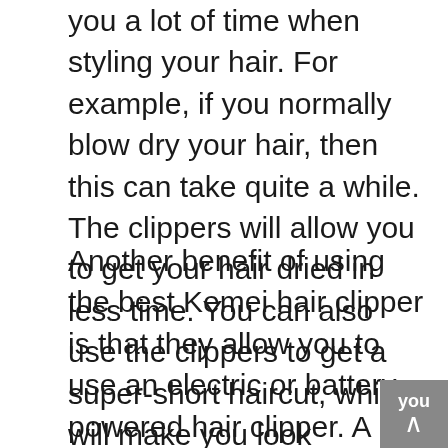you a lot of time when styling your hair. For example, if you normally blow dry your hair, then this can take quite a while. The clippers will allow you to get your hair dried in less time. You can also use the clippers to get a super-short haircut, which will make you look younger.
Another benefit of using the best Kemei hair clipper is that they allow you to use an electric or battery-powered hair clipper. A cordless model can save you time in the long run, as well as give you freedom when styling your hair. Maintaining your hair is also a great benefit of using clippers. You can easily maintain the length of your hair if you want to go shorter or longer. The clippers will allow you to maintain the length of your hair